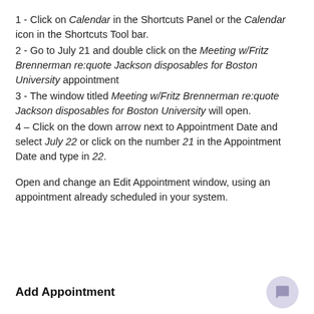1 - Click on Calendar in the Shortcuts Panel or the Calendar icon in the Shortcuts Tool bar.
2 - Go to July 21 and double click on the Meeting w/Fritz Brennerman re:quote Jackson disposables for Boston University appointment
3 - The window titled Meeting w/Fritz Brennerman re:quote Jackson disposables for Boston University will open.
4 – Click on the down arrow next to Appointment Date and select July 22 or click on the number 21 in the Appointment Date and type in 22.
Open and change an Edit Appointment window, using an appointment already scheduled in your system.
Add Appointment